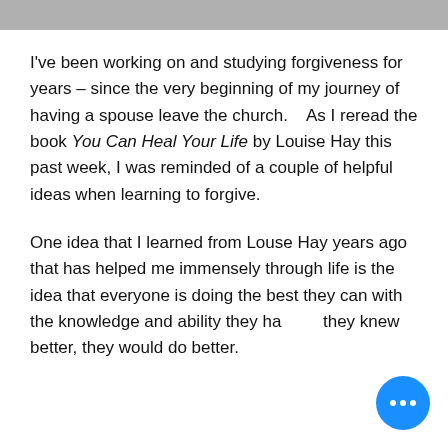I've been working on and studying forgiveness for years – since the very beginning of my journey of having a spouse leave the church.    As I reread the book You Can Heal Your Life by Louise Hay this past week, I was reminded of a couple of helpful ideas when learning to forgive.
One idea that I learned from Louse Hay years ago that has helped me immensely through life is the idea that everyone is doing the best they can with the knowledge and ability they have. If they knew better, they would do better.